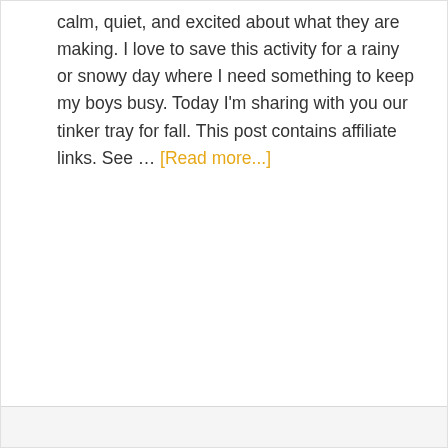calm, quiet, and excited about what they are making. I love to save this activity for a rainy or snowy day where I need something to keep my boys busy. Today I'm sharing with you our tinker tray for fall. This post contains affiliate links. See … [Read more...]
Filed Under: Creative Play, Fall Activities, Preschool
Tagged With: fall activities, tinker tray